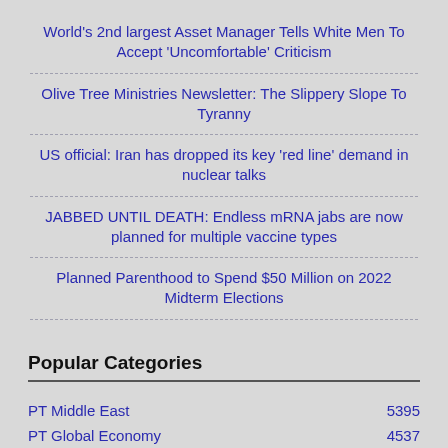World's 2nd largest Asset Manager Tells White Men To Accept 'Uncomfortable' Criticism
Olive Tree Ministries Newsletter: The Slippery Slope To Tyranny
US official: Iran has dropped its key 'red line' demand in nuclear talks
JABBED UNTIL DEATH: Endless mRNA jabs are now planned for multiple vaccine types
Planned Parenthood to Spend $50 Million on 2022 Midterm Elections
Popular Categories
| Category | Count |
| --- | --- |
| PT Middle East | 5395 |
| PT Global Economy | 4537 |